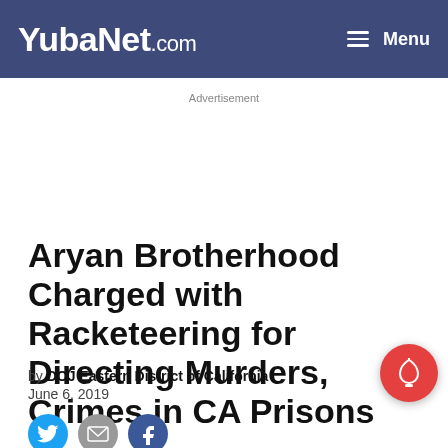YubaNet.com | Menu
Advertisement
Aryan Brotherhood Charged with Racketeering for Directing Murders, Crimes in CA Prisons
by DOJ Eastern District of California
June 6, 2019